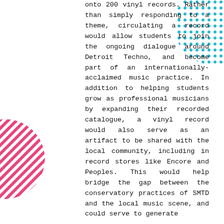onto 200 vinyl records. Rather than simply responding to a theme, circulating a record would allow students to join the ongoing dialogue around Detroit Techno, and become part of an internationally-acclaimed music practice. In addition to helping students grow as professional musicians by expanding their recorded catalogue, a vinyl record would also serve as an artifact to be shared with the local community, including in record stores like Encore and Peoples. This would help bridge the gap between the conservatory practices of SMTD and the local music scene, and could serve to generate
[Figure (illustration): Decorative teal dotted circle in upper right corner]
[Figure (illustration): Decorative pink diagonal-striped circle in lower left corner]